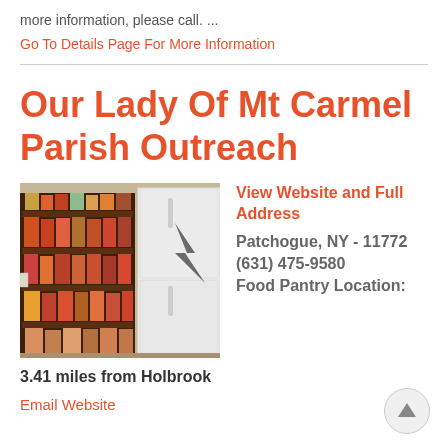more information, please call. ...
Go To Details Page For More Information
Our Lady Of Mt Carmel Parish Outreach
[Figure (photo): Interior photo of a food pantry showing shelves stocked with canned goods and food items, with a white refrigerator visible on the right.]
View Website and Full Address
Patchogue, NY - 11772
(631) 475-9580
Food Pantry Location:
3.41 miles from Holbrook
Email Website